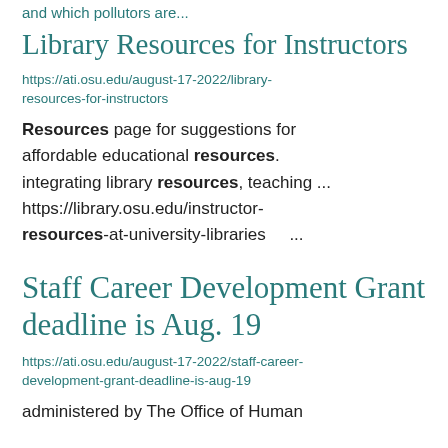and which pollutors are...
Library Resources for Instructors
https://ati.osu.edu/august-17-2022/library-resources-for-instructors
Resources page for suggestions for affordable educational resources. integrating library resources, teaching ... https://library.osu.edu/instructor-resources-at-university-libraries ...
Staff Career Development Grant deadline is Aug. 19
https://ati.osu.edu/august-17-2022/staff-career-development-grant-deadline-is-aug-19
administered by The Office of Human